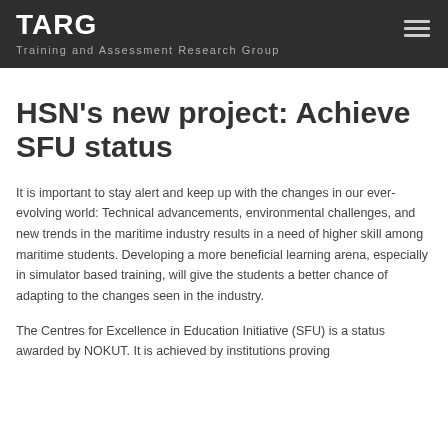TARG
Training and Assessment Research Group
HSN's new project: Achieve SFU status
It is important to stay alert and keep up with the changes in our ever-evolving world: Technical advancements, environmental challenges, and new trends in the maritime industry results in a need of higher skill among maritime students. Developing a more beneficial learning arena, especially in simulator based training, will give the students a better chance of adapting to the changes seen in the industry.
The Centres for Excellence in Education Initiative (SFU) is a status awarded by NOKUT. It is achieved by institutions proving